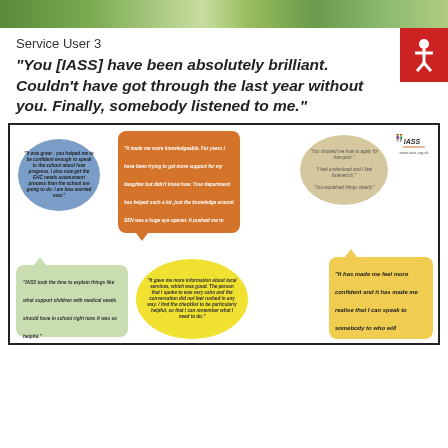[Figure (photo): Partial photo strip at top of page showing a child outdoors]
Service User 3
“You [IASS] have been absolutely brilliant. Couldn’t have got through the last year without you. Finally, somebody listened to me.”
[Figure (infographic): Speech bubble infographic with multiple colored speech bubbles containing quotes from service users about IASS support. Includes: blue oval bubble, orange rectangle bubble, tan oval bubble, green rectangle bubble, yellow oval bubble, and gold/yellow rectangle bubble with IASS logo in top right corner.]